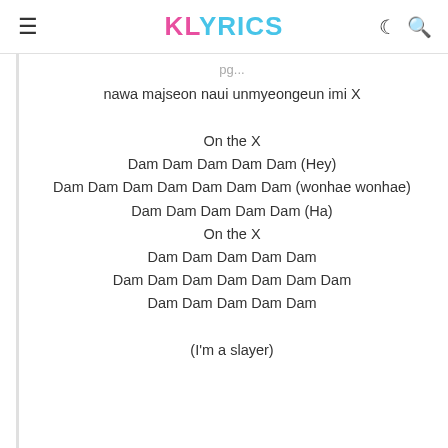KLYRICS
nawa majseon naui unmyeongeun imi X
On the X
Dam Dam Dam Dam Dam (Hey)
Dam Dam Dam Dam Dam Dam Dam (wonhae wonhae)
Dam Dam Dam Dam Dam (Ha)
On the X
Dam Dam Dam Dam Dam
Dam Dam Dam Dam Dam Dam Dam
Dam Dam Dam Dam Dam
(I'm a slayer)